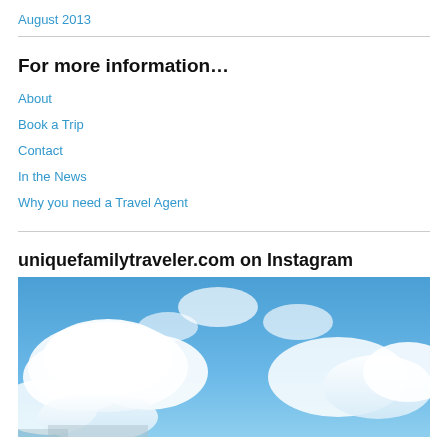August 2013
For more information…
About
Book a Trip
Contact
In the News
Why you need a Travel Agent
uniquefamilytraveler.com on Instagram
[Figure (photo): Blue sky with white clouds, partial view of a building or structure at the bottom edge]